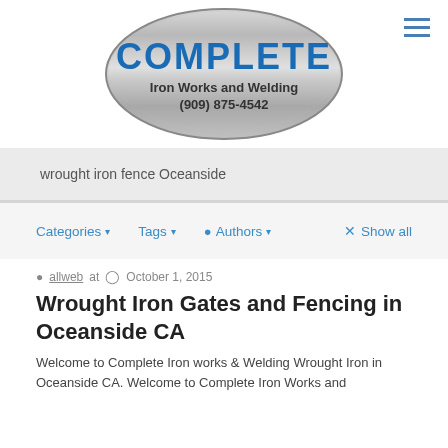[Figure (logo): Complete Iron Works and Welding logo — metallic oval with blue COMPLETE text and phone number (909) 875-4542]
wrought iron fence Oceanside
Categories ▾   Tags ▾   Authors ▾   × Show all
allweb at  October 1, 2015
Wrought Iron Gates and Fencing in Oceanside CA
Welcome to Complete Iron works & Welding Wrought Iron in Oceanside CA. Welcome to Complete Iron Works and